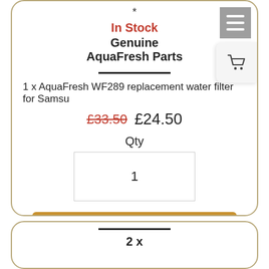*
In Stock
Genuine AquaFresh Parts
1 x AquaFresh WF289 replacement water filter for Samsu
£33.50 £24.50
Qty
1
Add to cart
2 x